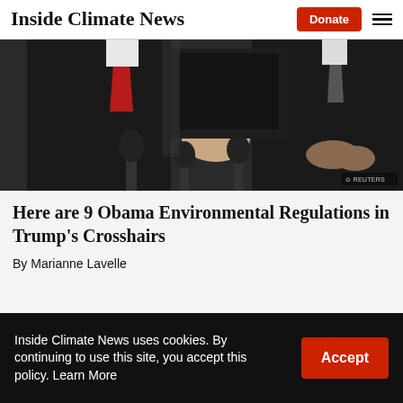Inside Climate News | Donate
[Figure (photo): Two men in suits seated, one wearing a red tie with hand gestures visible, microphones in foreground, Reuters watermark visible in bottom right corner.]
Here are 9 Obama Environmental Regulations in Trump's Crosshairs
By Marianne Lavelle
Inside Climate News uses cookies. By continuing to use this site, you accept this policy. Learn More